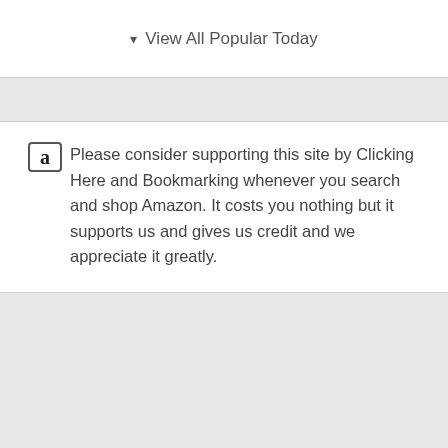▾ View All Popular Today
Please consider supporting this site by Clicking Here and Bookmarking whenever you search and shop Amazon. It costs you nothing but it supports us and gives us credit and we appreciate it greatly.